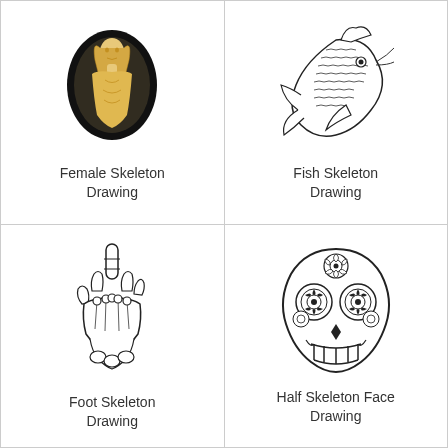[Figure (illustration): Female skeleton drawing — a cameo-style oval brooch with black background and cream/gold relief portrait of a female figure]
Female Skeleton Drawing
[Figure (illustration): Fish skeleton drawing — black and white detailed ink drawing of a koi fish with elaborate scales and fins]
Fish Skeleton Drawing
[Figure (illustration): Foot skeleton drawing — black and white illustration of a skeletal hand/foot giving the middle finger gesture]
Foot Skeleton Drawing
[Figure (illustration): Half skeleton face drawing — black and white sugar skull (Day of the Dead style) with floral decorations and mandala-like eye patterns]
Half Skeleton Face Drawing